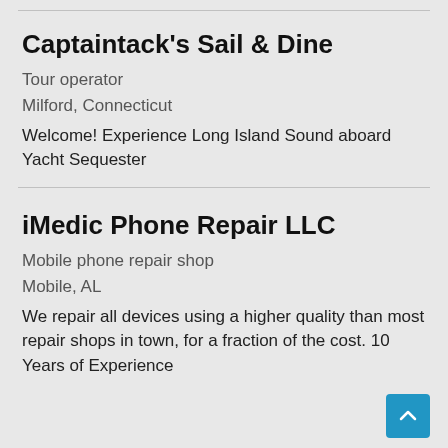Captaintack's Sail & Dine
Tour operator
Milford, Connecticut
Welcome! Experience Long Island Sound aboard Yacht Sequester
iMedic Phone Repair LLC
Mobile phone repair shop
Mobile, AL
We repair all devices using a higher quality than most repair shops in town, for a fraction of the cost. 10 Years of Experience